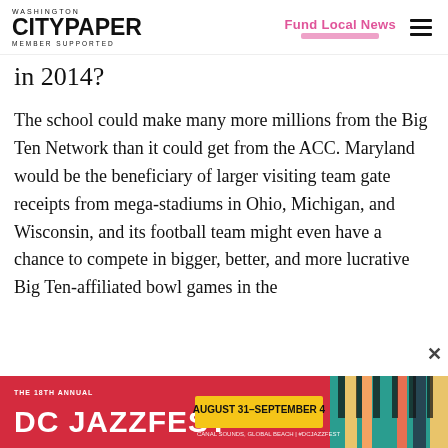Washington City Paper — Member Supported | Fund Local News
in 2014?
The school could make many more millions from the Big Ten Network than it could get from the ACC. Maryland would be the beneficiary of larger visiting team gate receipts from mega-stadiums in Ohio, Michigan, and Wisconsin, and its football team might even have a chance to compete in bigger, better, and more lucrative Big Ten-affiliated bowl games in the
[Figure (other): DC Jazzfest advertisement banner — 18th Annual DC Jazzfest, August 31–September 4, Canal Sounds, Global Beach, #DCJAZZFEST]